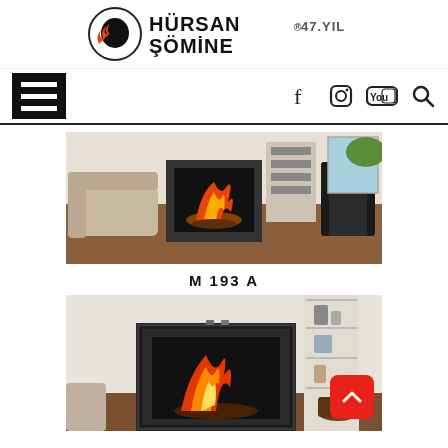HÜRSAN ŞÖMİNE® 47.YIL
[Figure (logo): Hürsan Şömine logo with horse icon and flame, text HÜRSAN ŞÖMİNE® 47.YIL]
[Figure (photo): Navigation bar with hamburger menu icon on left and social media icons (Facebook, Instagram, YouTube, Search) on right]
[Figure (photo): Living room scene with fireplace insert burning, sofa on left, armchair on right, bookshelves in background]
M 193 A
[Figure (photo): Living room scene with decorative fireplace surround, fire burning inside, shelving unit on right with decor items, firewood stacked below]